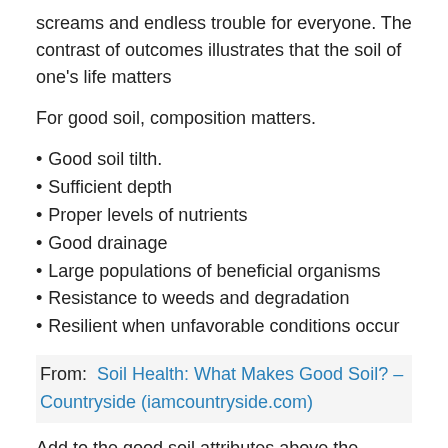screams and endless trouble for everyone. The contrast of outcomes illustrates that the soil of one's life matters
For good soil, composition matters.
Good soil tilth.
Sufficient depth
Proper levels of nutrients
Good drainage
Large populations of beneficial organisms
Resistance to weeds and degradation
Resilient when unfavorable conditions occur
From:  Soil Health: What Makes Good Soil? – Countryside (iamcountryside.com)
Add to the good soil attributes above the humus of humility, a fertilized imagination and a desire to be